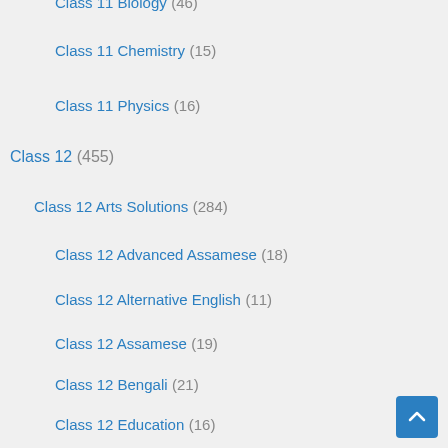Class 11 Biology (46)
Class 11 Chemistry (15)
Class 11 Physics (16)
Class 12 (455)
Class 12 Arts Solutions (284)
Class 12 Advanced Assamese (18)
Class 12 Alternative English (11)
Class 12 Assamese (19)
Class 12 Bengali (21)
Class 12 Education (16)
Class 12 English (16)
Class 12 Geography (52)